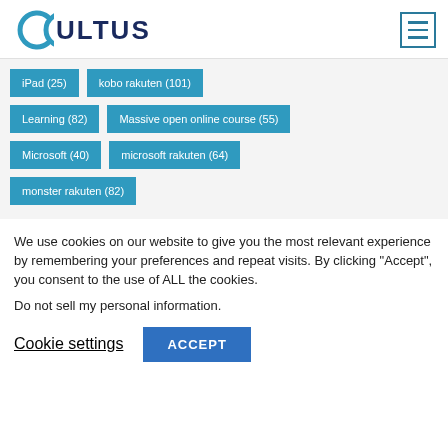CULTUS
iPad (25)
kobo rakuten (101)
Learning (82)
Massive open online course (55)
Microsoft (40)
microsoft rakuten (64)
monster rakuten (82)
We use cookies on our website to give you the most relevant experience by remembering your preferences and repeat visits. By clicking “Accept”, you consent to the use of ALL the cookies.
Do not sell my personal information.
Cookie settings
ACCEPT